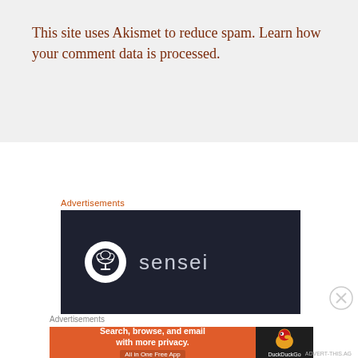This site uses Akismet to reduce spam. Learn how your comment data is processed.
Advertisements
[Figure (logo): Sensei brand advertisement on dark background with bonsai tree logo in white circle and the word 'sensei' in light gray text]
Advertisements
[Figure (screenshot): DuckDuckGo advertisement: 'Search, browse, and email with more privacy. All in One Free App' on orange background with DuckDuckGo duck logo on dark right panel]